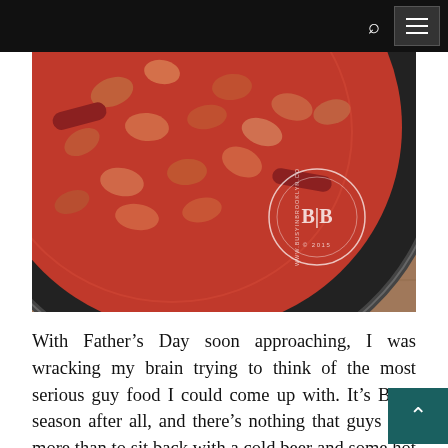Navigation bar with search and menu icons
[Figure (photo): Overhead close-up shot of a cast iron pan filled with baked beans in tomato sauce, sitting on a wooden table. A circular logo watermark reads 'www.busyinbrooklyn.com 2015' with 'BIB' monogram in the center.]
With Father's Day soon approaching, I was wracking my brain trying to think of the most serious guy food I could come up with. It's BBQ season after all, and there's nothing that guys like more than to sit back with a cold beer and some hot dogs, am I right? A side of baked beans or chili doesn't hurt either,